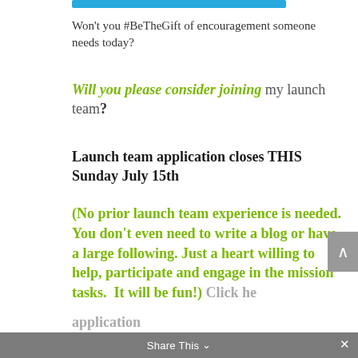[Figure (other): Blue horizontal bar at the top of the page]
Won’t you #BeTheGift of encouragement someone needs today?
Will you please consider joining my launch team?
Launch team application closes THIS Sunday July 15th
(No prior launch team experience is needed. You don’t even need to write a blog or have a large following. Just a heart willing to help, participate and engage in the mission tasks.  It will be fun!)  Click here to view the application
Share This